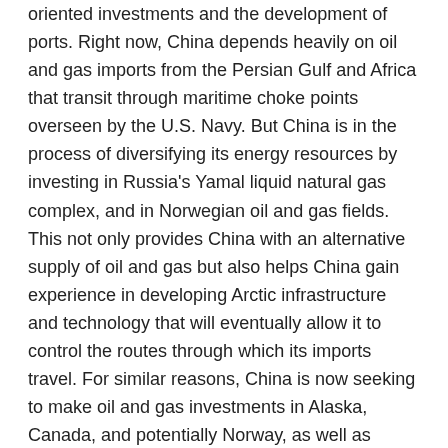oriented investments and the development of ports. Right now, China depends heavily on oil and gas imports from the Persian Gulf and Africa that transit through maritime choke points overseen by the U.S. Navy. But China is in the process of diversifying its energy resources by investing in Russia's Yamal liquid natural gas complex, and in Norwegian oil and gas fields. This not only provides China with an alternative supply of oil and gas but also helps China gain experience in developing Arctic infrastructure and technology that will eventually allow it to control the routes through which its imports travel. For similar reasons, China is now seeking to make oil and gas investments in Alaska, Canada, and potentially Norway, as well as investments in the mineral industries and ports of many Northern European Arctic states.
Among China's possible partners in the region are the five Northern European members of the Arctic Council: